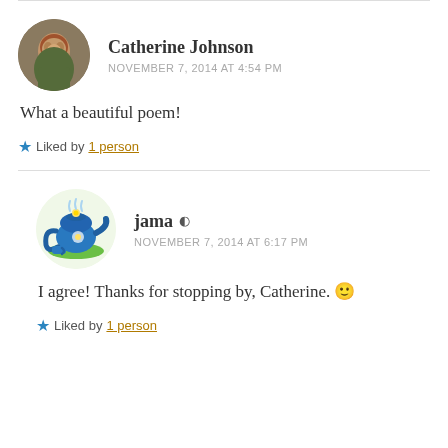[Figure (photo): Circular avatar photo of Catherine Johnson, a woman with short dark hair]
Catherine Johnson
NOVEMBER 7, 2014 AT 4:54 PM
What a beautiful poem!
★ Liked by 1 person
[Figure (illustration): Circular avatar with a cartoon blue teapot illustration on a green mat]
jama
NOVEMBER 7, 2014 AT 6:17 PM
I agree! Thanks for stopping by, Catherine. 🙂
★ Liked by 1 person